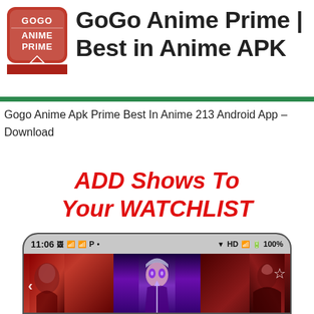[Figure (logo): GoGo Anime Prime logo: red shield/badge shape with white text GOGO on top, ANIME PRIME in middle, and a red downward arrow at bottom]
GoGo Anime Prime | Best in Anime APK
Gogo Anime Apk Prime Best In Anime 213 Android App – Download
ADD Shows To Your WATCHLIST
[Figure (screenshot): Android phone screenshot showing GoGo Anime Prime app with status bar showing 11:06, HD, 100% battery, and anime show thumbnails in a horizontal carousel with navigation arrows and a star/favorite icon]